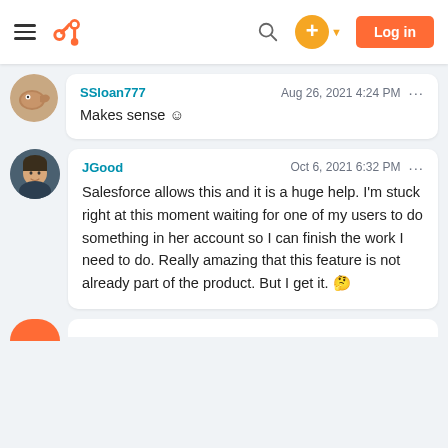HubSpot community navigation bar with hamburger menu, HubSpot logo, search icon, add button, and Log in button
SSloan777 — Aug 26, 2021 4:24 PM
Makes sense ☺
JGood — Oct 6, 2021 6:32 PM
Salesforce allows this and it is a huge help.  I'm stuck right at this moment waiting for one of my users to do something in her account so I can finish the work I need to do. Really amazing that this feature is not already part of the product.  But I get it.  🤔